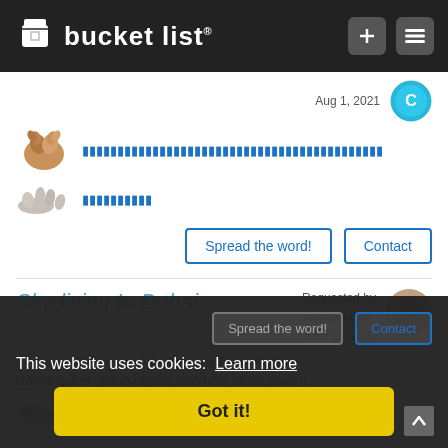bucket list
Aug 1, 2021
[Figure (photo): Clasped hands emoji/icon]
[Unicode decorative text line]
[Figure (illustration): Open hand/palm emoji]
[Unicode decorative text]
Spread the word!
Contact
Skydiving In Dubai
Requested by salmanjamil June 28, 2021
[Figure (photo): User profile photo of salmanjamil]
If anyone can assist me to do skydiving in dubai.. Booking and giving details and how much days it
[Figure (illustration): Small bird/seagull icon]
Upto 2000 Aed
Spread the word!
Contact
This website uses cookies:  Learn more
Got it!